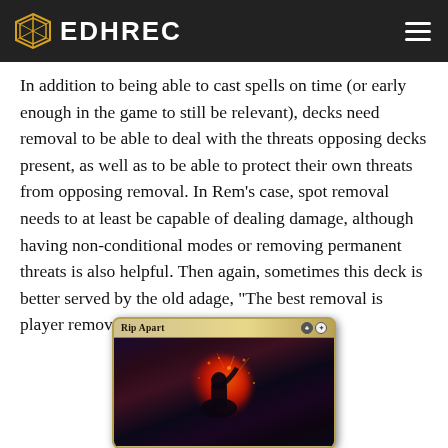EDHREC
In addition to being able to cast spells on time (or early enough in the game to still be relevant), decks need removal to be able to deal with the threats opposing decks present, as well as to be able to protect their own threats from opposing removal. In Rem’s case, spot removal needs to at least be capable of dealing damage, although having non-conditional modes or removing permanent threats is also helpful. Then again, sometimes this deck is better served by the old adage, “The best removal is player removal!”
[Figure (illustration): Magic: The Gathering card named 'Rip Apart' showing a dark figure with fire/energy effects, gold card border with black and white mana symbols]